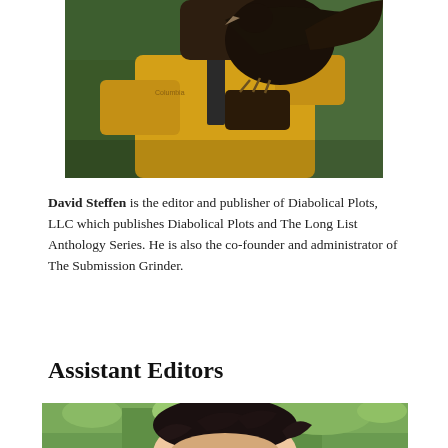[Figure (photo): Person wearing a yellow jacket with a large dark bird (eagle or hawk) perched on their gloved hand, outdoors with green foliage background]
David Steffen is the editor and publisher of Diabolical Plots, LLC which publishes Diabolical Plots and The Long List Anthology Series. He is also the co-founder and administrator of The Submission Grinder.
Assistant Editors
[Figure (photo): Person with curly dark hair outdoors with green trees in background, partially cropped]